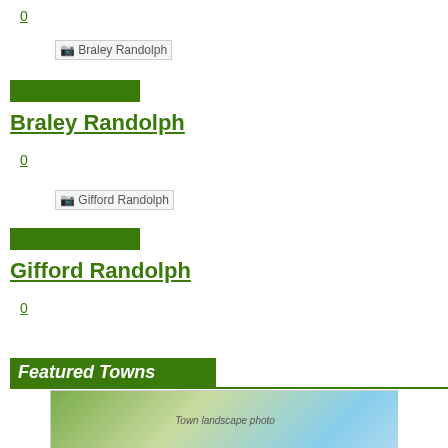0
[Figure (photo): Broken image placeholder for Braley Randolph]
[Figure (other): Green button/bar UI element]
Braley Randolph
0
[Figure (photo): Broken image placeholder for Gifford Randolph]
[Figure (other): Green button/bar UI element]
Gifford Randolph
0
Featured Towns
[Figure (photo): Outdoor landscape/town photo partially visible at bottom]